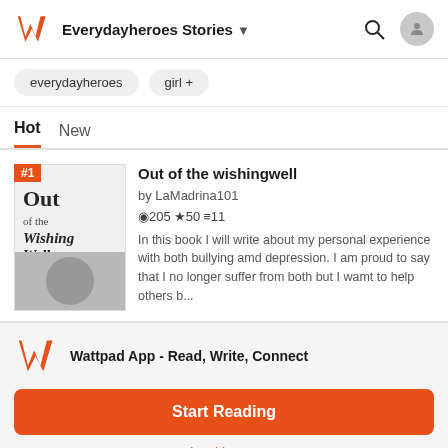Everydayheroes Stories
everydayheroes   girl +
Hot   New
Out of the wishingwell
by LaMadrina101
205 ★ 50 ≡ 11
In this book I will write about my personal experience with both bullying amd depression. I am proud to say that I no longer suffer from both but I wamt to help others b...
Wattpad App - Read, Write, Connect
Start Reading
Log in with Browser